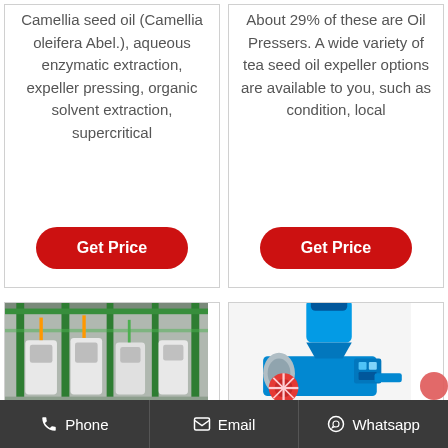Camellia seed oil (Camellia oleifera Abel.), aqueous enzymatic extraction, expeller pressing, organic solvent extraction, supercritical
Get Price
About 29% of these are Oil Pressers. A wide variety of tea seed oil expeller options are available to you, such as condition, local
Get Price
[Figure (photo): Photo of an industrial oil pressing factory floor with green machinery and white equipment units]
[Figure (photo): Photo of a blue and red oil expeller/pressing machine]
Phone   Email   Whatsapp